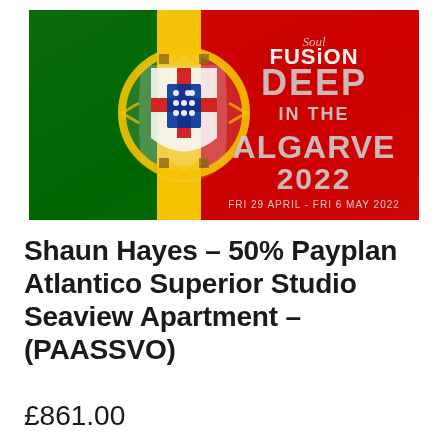[Figure (illustration): Soul Fusion 'Deep in the Algarve 2022' event promotional banner featuring the Portuguese flag with the event text: DEEP IN THE ALGARVE 2022, FRI 29 APRIL - FRI 6 MAY 2022, with Soul Fusion logo]
Shaun Hayes – 50% Payplan Atlantico Superior Studio Seaview Apartment – (PAASSVO)
£861.00